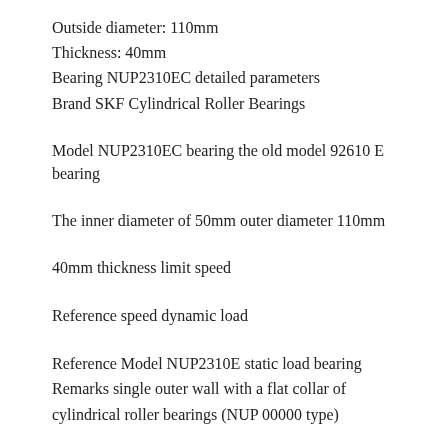Outside diameter: 110mm
Thickness: 40mm
Bearing NUP2310EC detailed parameters
Brand SKF Cylindrical Roller Bearings
Model NUP2310EC bearing the old model 92610 E bearing
The inner diameter of 50mm outer diameter 110mm
40mm thickness limit speed
Reference speed dynamic load
Reference Model NUP2310E static load bearing Remarks single outer wall with a flat collar of cylindrical roller bearings (NUP 00000 type)